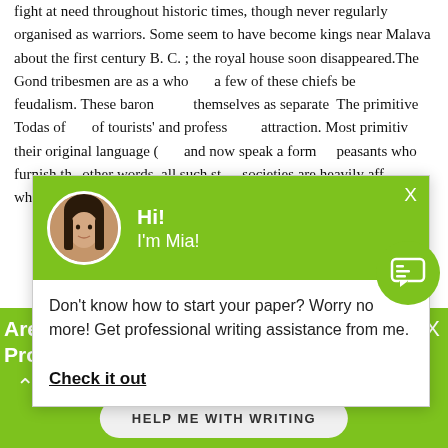fight at need throughout historic times, though never regularly organised as warriors. Some seem to have become kings near Malava about the first century B. C. ; the royal house soon disappeared.The Gond tribesmen are as a who... a few of these chiefs be... feudalism. These baron... themselves as separate... The primitive Todas of ... of tourists' and profess... attraction. Most primitiv... their original language (... and now speak a form... peasants who furnish th... other words, all such st... societies are heavily aff... whose means of produ...
[Figure (screenshot): Chat popup with avatar of woman named Mia on green header, with message: Don't know how to start your paper? Worry no more! Get professional writing assistance from me. Check it out]
Are You on a Short Deadline? Let a Professional W... Help You
HELP ME WITH WRITING